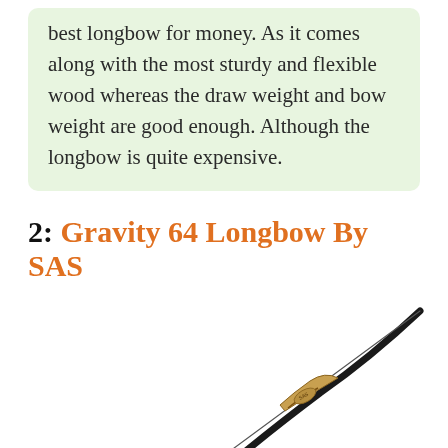best longbow for money. As it comes along with the most sturdy and flexible wood whereas the draw weight and bow weight are good enough. Although the longbow is quite expensive.
2: Gravity 64 Longbow By SAS
[Figure (photo): A SAS Gravity 64 longbow shown diagonally across the frame, with a dark wooden and black limb body, golden riser section with decorative detail, and a thin bowstring extending from tip to tip.]